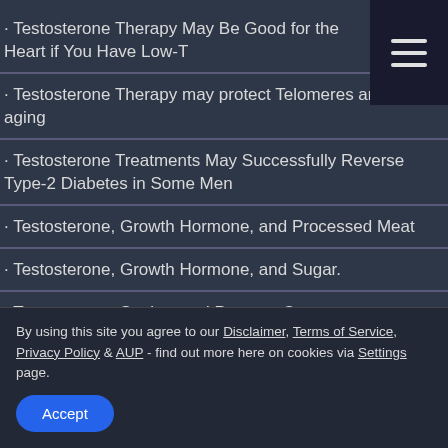Testosterone Therapy May Be Good for the Heart if You Have Low-T
Testosterone Therapy may protect Telomeres and slow aging
Testosterone Treatments May Successfully Reverse Type-2 Diabetes in Some Men
Testosterone, Growth Hormone, and Processed Meat
Testosterone, Growth Hormone, and Sugar.
Testosterone, Statins, and Prostate Cancer
By using this site you agree to our Disclaimer, Terms of Service, Privacy Policy & AUP - find out more here on cookies via Settings page.
Accept